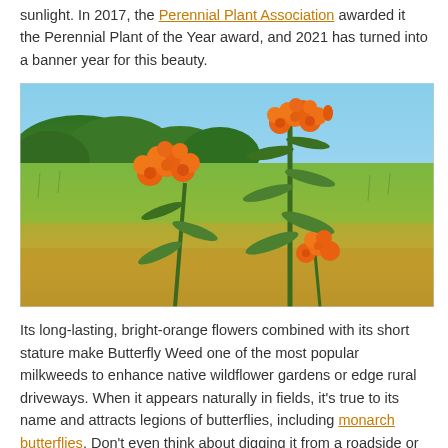sunlight. In 2017, the Perennial Plant Association awarded it the Perennial Plant of the Year award, and 2021 has turned into a banner year for this beauty.
[Figure (photo): Photograph of Butterfly Weed (Asclepias tuberosa) showing bright orange flower clusters on green stems with lance-shaped leaves, set against a blue sky and grassy field background.]
Its long-lasting, bright-orange flowers combined with its short stature make Butterfly Weed one of the most popular milkweeds to enhance native wildflower gardens or edge rural driveways. When it appears naturally in fields, it's true to its name and attracts legions of butterflies, including monarch butterflies. Don't even think about digging it from a roadside or